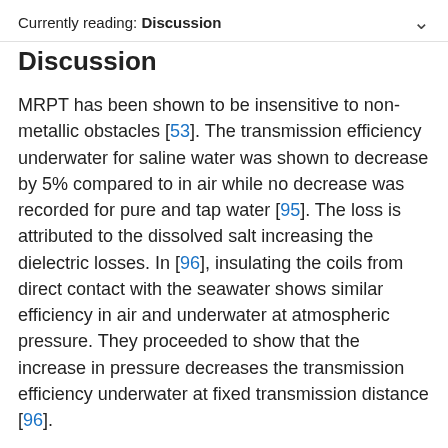Currently reading: Discussion
Discussion
MRPT has been shown to be insensitive to non-metallic obstacles [53]. The transmission efficiency underwater for saline water was shown to decrease by 5% compared to in air while no decrease was recorded for pure and tap water [95]. The loss is attributed to the dissolved salt increasing the dielectric losses. In [96], insulating the coils from direct contact with the seawater shows similar efficiency in air and underwater at atmospheric pressure. They proceeded to show that the increase in pressure decreases the transmission efficiency underwater at fixed transmission distance [96].
The transmission efficiency of MWPT and LPT through mediums decreases according to the absorption coefficient, μ, in (  11   ). A model of μ is defined in